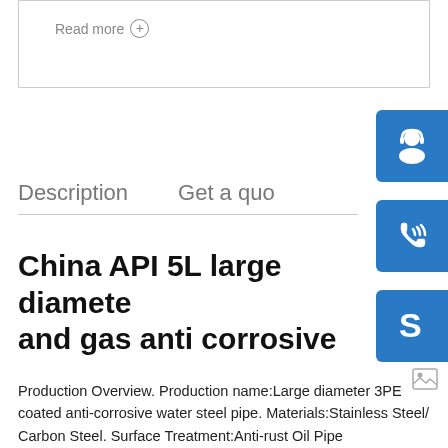Read more ⊕
[Figure (illustration): Blue customer support icon (headset/person) on blue rounded square button]
[Figure (illustration): Blue phone icon on blue rounded square button]
[Figure (illustration): Blue Skype icon (S logo) on blue rounded square button]
Description
Get a quo
China API 5L large diamete and gas anti corrosive
Production Overview. Production name:Large diameter 3PE coated anti-corrosive water steel pipe. Materials:Stainless Steel/ Carbon Steel. Surface Treatment:Anti-rust Oil Pipe manufacturers, China Oil Pipe suppliers,Global Find Oil Pipe manufacturers from
Processing technology